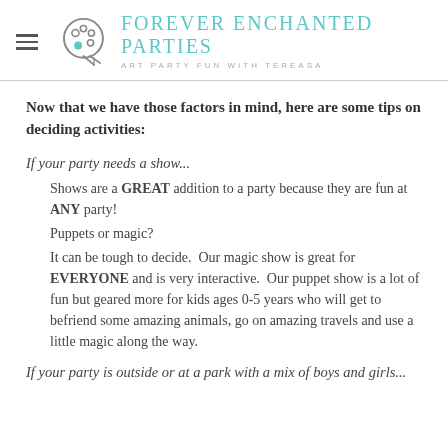Forever Enchanted Parties — Art Party Fun With Tereasa
Now that we have those factors in mind, here are some tips on deciding activities:
If your party needs a show...
Shows are a GREAT addition to a party because they are fun at ANY party!
Puppets or magic?
It can be tough to decide.  Our magic show is great for EVERYONE and is very interactive.  Our puppet show is a lot of fun but geared more for kids ages 0-5 years who will get to befriend some amazing animals, go on amazing travels and use a little magic along the way.
If your party is outside or at a park with a mix of boys and girls...